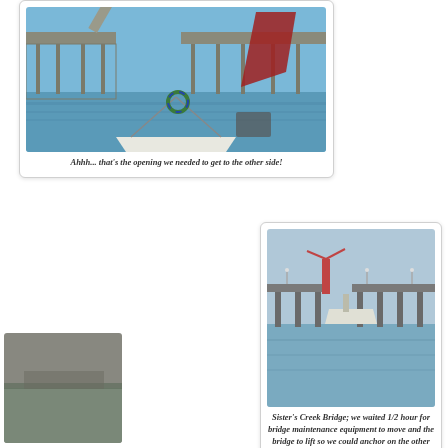[Figure (photo): View from the bow of a sailboat approaching a drawbridge that is open, showing the bridge structure, water, and blue sky.]
Ahhh... that's the opening we needed to get to the other side!
[Figure (photo): Sister's Creek Bridge from the water, showing the bridge with a boat waiting and bridge maintenance equipment on it.]
Sister's Creek Bridge; we waited 1/2 hour for bridge maintenance equipment to move and the bridge to lift so we could anchor on the other side.
[Figure (photo): Partial view of a photo at the bottom left, appears to show a dock or waterway scene.]